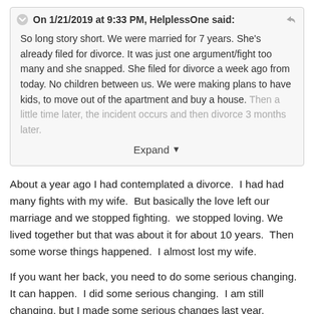On 1/21/2019 at 9:33 PM, HelplessOne said:
So long story short. We were married for 7 years. She's already filed for divorce. It was just one argument/fight too many and she snapped. She filed for divorce a week ago from today. No children between us. We were making plans to have kids, to move out of the apartment and buy a house. Then a little time later, the incident occurs and then divorce 3 months later.
Expand
About a year ago I had contemplated a divorce.  I had had many fights with my wife.  But basically the love left our marriage and we stopped fighting.  we stopped loving. We lived together but that was about it for about 10 years.  Then some worse things happened.  I almost lost my wife.
If you want her back, you need to do some serious changing.  It can happen.  I did some serious changing.  I am still changing, but I made some serious changes last year.